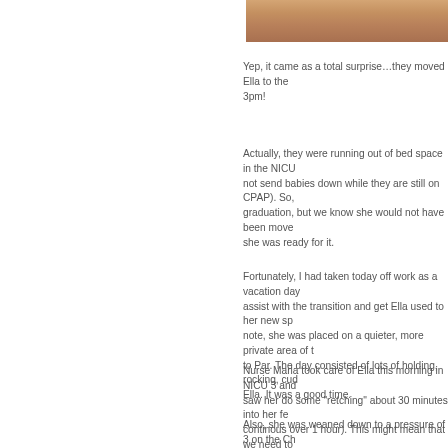[Figure (photo): Partial photo of a baby, warm skin tones, cropped at top of page]
Yep, it came as a total surprise…they moved Ella to the 3pm!
Actually, they were running out of bed space in the NICU not send babies down while they are still on CPAP). So, graduation, but we know she would not have been move she was ready for it.
Fortunately, I had taken today off work as a vacation day assist with the transition and get Ella used to her new sp note, she was placed on a quieter, more private area of t to Par. The day consisted of lots of holding, rocking, cud Ella. It was a good time.
Nurse Marla took care of Ella this morning in NICU 3 and saw her do some "retching" about 30 minutes into her fe continous over 1 hour). This might mean that we need to feedings to let her tummy expand some more (maybe try 1.5 hours).
Also, she was weaned down to a pressure of 3 on the Ch the right direction!